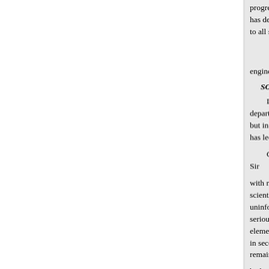progress. Tue Bucks Education C has decided that Sir William Wui to all school corre- Polytechnic c
engineering. He expressed the op
SOCIETIES AND ACADEMIE
LONDON. have only the even departments of technical Geolog but in classes such F.R.S., presid has led the way. The
Coal-measures of North Staffo Sir
with notes on their paleontology scientific The stratigraphical pos uninformed them- located with e serious to their students. utilised elementary education has known in secondary education there is m remains undone. He advised ever
beds was given. The Speedwell a